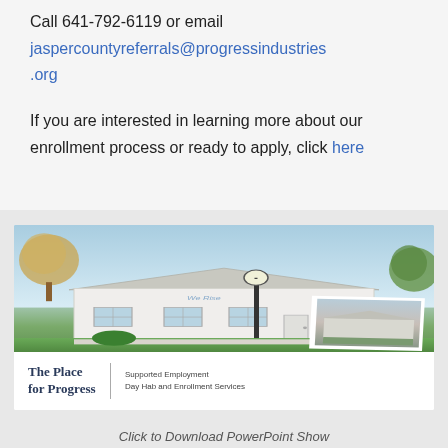Call 641-792-6119 or email jaspercountyreferrals@progressindustries.org
If you are interested in learning more about our enrollment process or ready to apply, click here
[Figure (illustration): Illustration of a white building labeled 'The Place for Progress' with a lamp post, trees, and a small inset photograph of another building. Caption bar reads 'The Place for Progress | Supported Employment Day Hab and Enrollment Services']
Click to Download PowerPoint Show